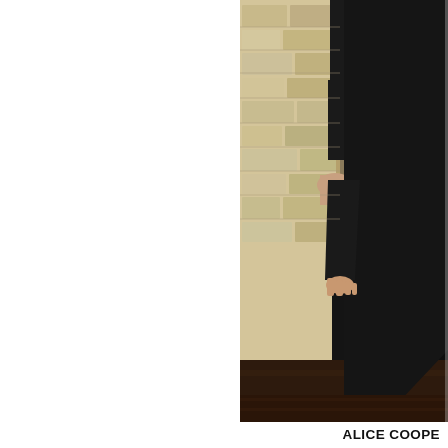[Figure (photo): A person dressed in all black standing against a stone/brick wall interior, with dark wood flooring. The photo is cropped and shows roughly from mid-torso down, with hands visible.]
ALICE COOPE